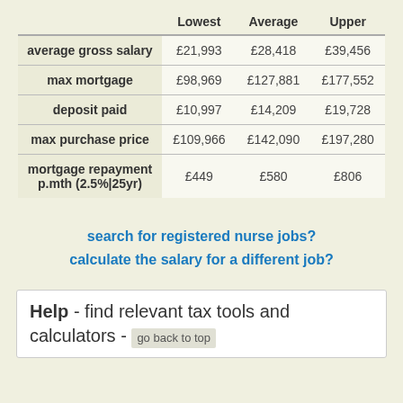|  | Lowest | Average | Upper |
| --- | --- | --- | --- |
| average gross salary | £21,993 | £28,418 | £39,456 |
| max mortgage | £98,969 | £127,881 | £177,552 |
| deposit paid | £10,997 | £14,209 | £19,728 |
| max purchase price | £109,966 | £142,090 | £197,280 |
| mortgage repayment p.mth (2.5%|25yr) | £449 | £580 | £806 |
search for registered nurse jobs?
calculate the salary for a different job?
Help - find relevant tax tools and calculators - go back to top